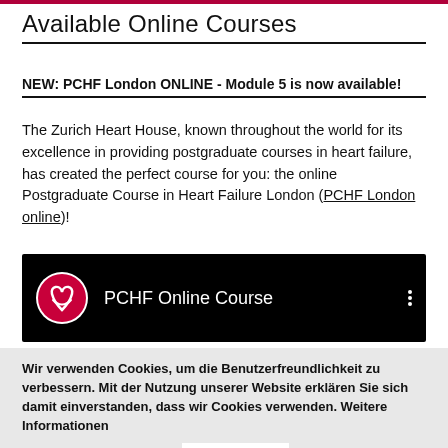Available Online Courses
NEW: PCHF London ONLINE - Module 5 is now available!
The Zurich Heart House, known throughout the world for its excellence in providing postgraduate courses in heart failure, has created the perfect course for you: the online Postgraduate Course in Heart Failure London (PCHF London online)!
[Figure (screenshot): Black video player thumbnail showing the PCHF Online Course logo (heart symbol in pink/red circle) and the text 'PCHF Online Course' in white, with a three-dot menu icon on the right.]
Wir verwenden Cookies, um die Benutzerfreundlichkeit zu verbessern. Mit der Nutzung unserer Website erklären Sie sich damit einverstanden, dass wir Cookies verwenden. Weitere Informationen
Ja, ich bin einverstanden   No, thanks